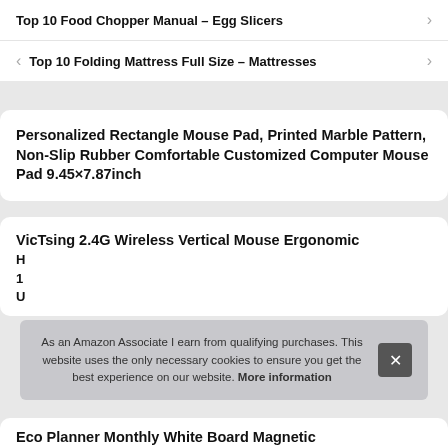Top 10 Food Chopper Manual – Egg Slicers
Top 10 Folding Mattress Full Size – Mattresses
Personalized Rectangle Mouse Pad, Printed Marble Pattern, Non-Slip Rubber Comfortable Customized Computer Mouse Pad 9.45×7.87inch
VicTsing 2.4G Wireless Vertical Mouse Ergonomic
As an Amazon Associate I earn from qualifying purchases. This website uses the only necessary cookies to ensure you get the best experience on our website. More information
Eco Planner Monthly White Board Magnetic